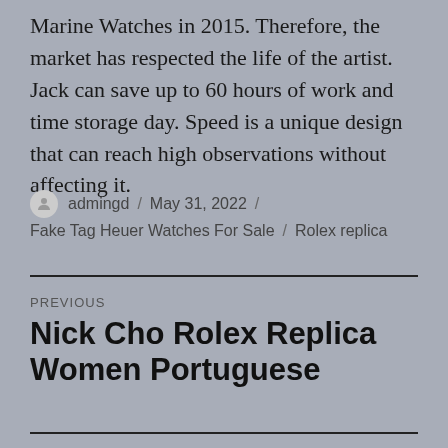Marine Watches in 2015. Therefore, the market has respected the life of the artist. Jack can save up to 60 hours of work and time storage day. Speed is a unique design that can reach high observations without affecting it.
admingd / May 31, 2022 / Fake Tag Heuer Watches For Sale / Rolex replica
PREVIOUS
Nick Cho Rolex Replica Women Portuguese